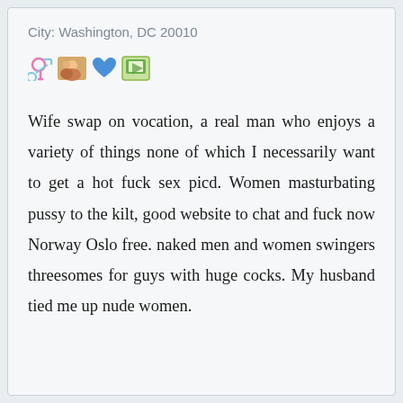City: Washington, DC 20010
[Figure (other): Row of small emoji/icon images: gender symbol, couple photo, blue heart, photo frame icon]
Wife swap on vocation, a real man who enjoys a variety of things none of which I necessarily want to get a hot fuck sex picd. Women masturbating pussy to the kilt, good website to chat and fuck now Norway Oslo free. naked men and women swingers threesomes for guys with huge cocks. My husband tied me up nude women.